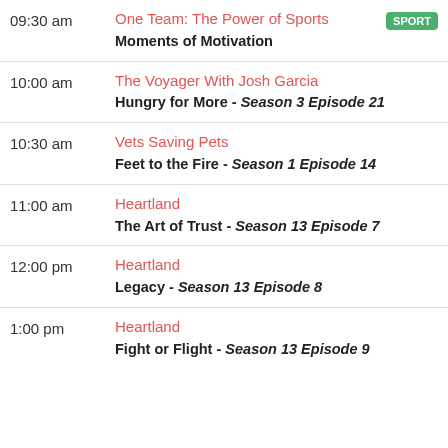| Time | Show | Episode |
| --- | --- | --- |
| 09:30 am | One Team: The Power of Sports [SPORT] | Moments of Motivation |
| 10:00 am | The Voyager With Josh Garcia | Hungry for More - Season 3 Episode 21 |
| 10:30 am | Vets Saving Pets | Feet to the Fire - Season 1 Episode 14 |
| 11:00 am | Heartland | The Art of Trust - Season 13 Episode 7 |
| 12:00 pm | Heartland | Legacy - Season 13 Episode 8 |
| 1:00 pm | Heartland | Fight or Flight - Season 13 Episode 9 |